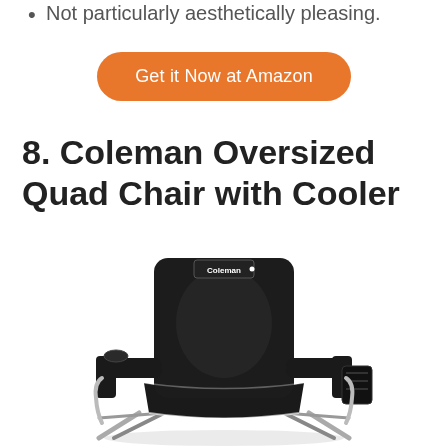Not particularly aesthetically pleasing.
Get it Now at Amazon
8. Coleman Oversized Quad Chair with Cooler
[Figure (photo): Black Coleman Oversized Quad Chair with Cooler, front-facing view showing padded seat, armrests with cup holder, and Coleman logo on the backrest.]